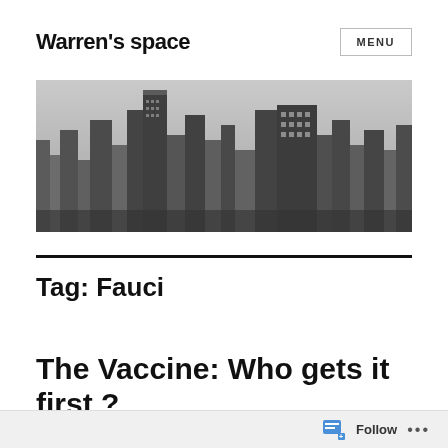Warren's space
[Figure (screenshot): MENU button with border]
[Figure (photo): Black and white aerial photograph of a dense city skyline with tall skyscrapers]
Tag: Fauci
The Vaccine: Who gets it first?
Follow ...